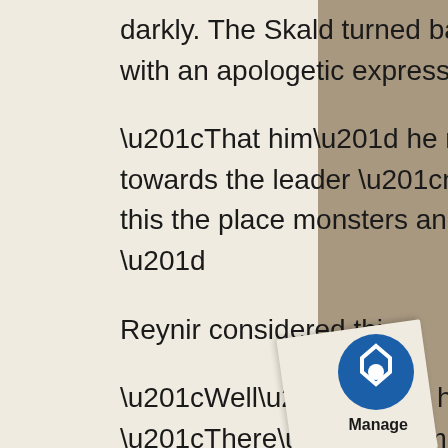darkly. The Skald turned back to Reynir with an apologetic expression.
“That him” he nodded towards the leader “need think, is this the place monsters and want vomit?”
Reynir considered this.
“Well…” he started “There’s no monsters around here. Usually I mean. And if he needs to… vomit… I guess there’s the bushes?” he pointed to a low clump of vegetation being gnawed on by a ewe. The
[Figure (logo): Scribd/Manage badge logo in bottom right corner on curled paper]